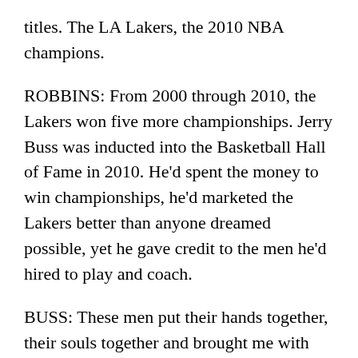titles. The LA Lakers, the 2010 NBA champions.
ROBBINS: From 2000 through 2010, the Lakers won five more championships. Jerry Buss was inducted into the Basketball Hall of Fame in 2010. He'd spent the money to win championships, he'd marketed the Lakers better than anyone dreamed possible, yet he gave credit to the men he'd hired to play and coach.
BUSS: These men put their hands together, their souls together and brought me with them. And I thank each and every one of you from the bottom of my heart.
ROBBINS: Jerry Buss also owned the LA Kings hockey team and the WNBA LA Sparks. Buss was hospitalized much of the last 18 months for cancer treatment. His six children and relatives suggest that he was determined to